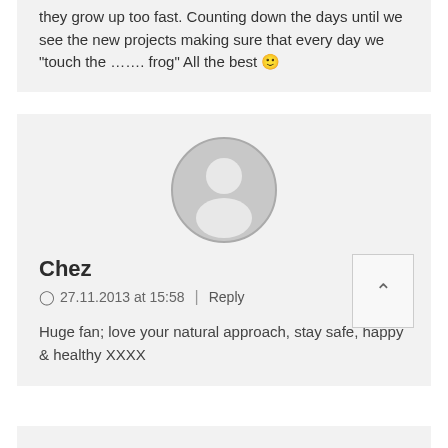they grow up too fast. Counting down the days until we see the new projects making sure that every day we "touch the ……. frog" All the best 🙂
[Figure (illustration): Default user avatar — circular grey silhouette of a person]
Chez
27.11.2013 at 15:58 | Reply
Huge fan; love your natural approach, stay safe, happy & healthy XXXX